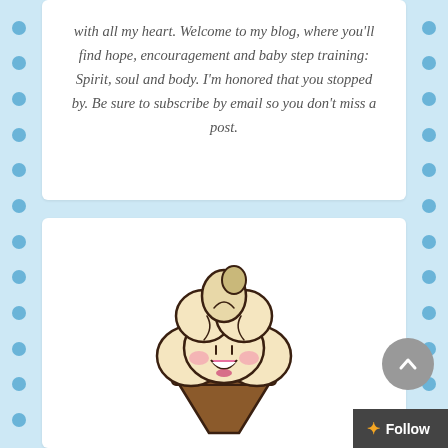with all my heart. Welcome to my blog, where you'll find hope, encouragement and baby step training: Spirit, soul and body. I'm honored that you stopped by. Be sure to subscribe by email so you don't miss a post.
[Figure (illustration): Kawaii cute cartoon ice cream cone character with a happy smiling face, rosy cheeks, and soft cream-colored swirled ice cream in a brown wafer cone]